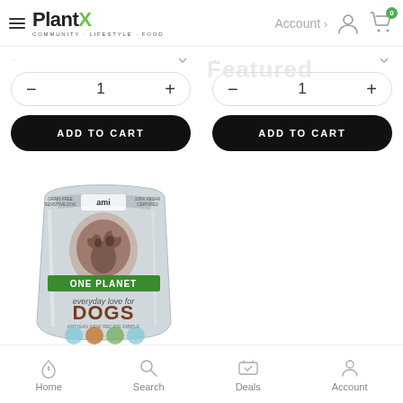PlantX COMMUNITY · LIFESTYLE · FOOD | Account | Cart
[Figure (screenshot): Two product quantity selectors with minus/plus buttons showing quantity 1, each with an ADD TO CART black button below]
[Figure (photo): Ami One Planet everyday love for DOGS pet food bag]
Home | Search | Deals | Account